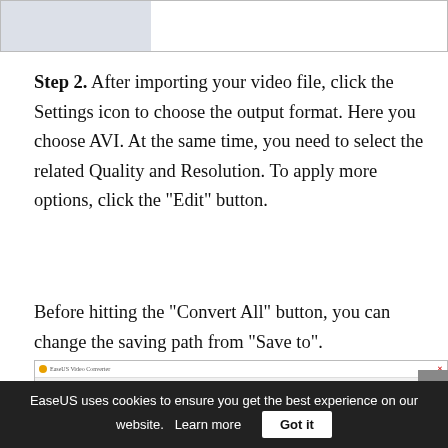[Figure (screenshot): Top portion of a software screenshot showing a video converter interface, partially cropped, with a grey placeholder box on the left side.]
Step 2. After importing your video file, click the Settings icon to choose the output format. Here you choose AVI. At the same time, you need to select the related Quality and Resolution. To apply more options, click the "Edit" button.
Before hitting the "Convert All" button, you can change the saving path from "Save to".
[Figure (screenshot): Screenshot of EaseUS Video Converter application showing the Converting and Finished tabs, with a file row containing sample files, a settings gear icon highlighted with a red border, and a Convert button.]
EaseUS uses cookies to ensure you get the best experience on our website.   Learn more   Got it